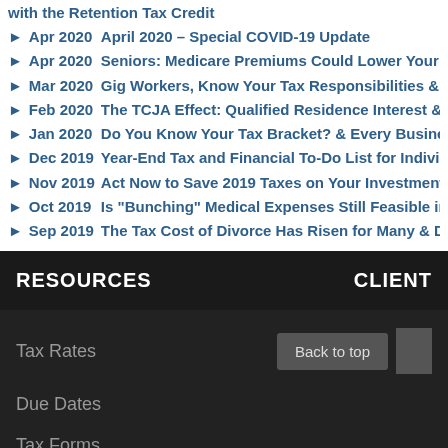with the Retention Tax Credit
Apr 2020  April 2020 – Special COVID-19 Update
Apr 2020  Seniors: Medicare Premiums Could Lower Your T
Mar 2020  Gig Workers, Know Your Tax Responsibilities & T
Feb 2020  The TCJA Effect: Qualified Residence Interest & C
Jan 2020  Do You Know Your Tax Bracket? & Every Business
Dec 2019  Year-End Tax and Financial To-Do List for Individ
Nov 2019  Act Now to Save 2019 Taxes on Your Investments
Oct 2019  Is "Bunching" Medical Expenses Still Feasible in
Sep 2019  The Tax Cost of Divorce Has Risen for Many & De
RESOURCES   CLIENT
Tax Rates
Due Dates
Tax Forms